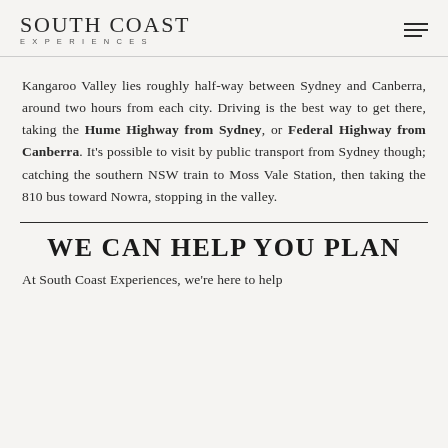SOUTH COAST EXPERIENCES
Kangaroo Valley lies roughly half-way between Sydney and Canberra, around two hours from each city. Driving is the best way to get there, taking the Hume Highway from Sydney, or Federal Highway from Canberra. It's possible to visit by public transport from Sydney though; catching the southern NSW train to Moss Vale Station, then taking the 810 bus toward Nowra, stopping in the valley.
WE CAN HELP YOU PLAN
At South Coast Experiences, we're here to help you plan the perfect trip to the South Coast...